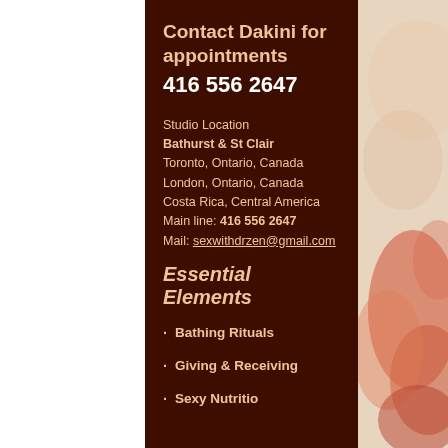Contact  Dakini for appointments
416 556 2647
Studio Location
Bathurst & St Clair
Toronto, Ontario, Canada
London, Ontario, Canada
Costa Rica, Central America
Main line: 416 556 2647
Mail: sexwithdrzen@gmail.com
Essential Elements
Bathing Rituals
Giving & Receiving
Sexy Nutritio…